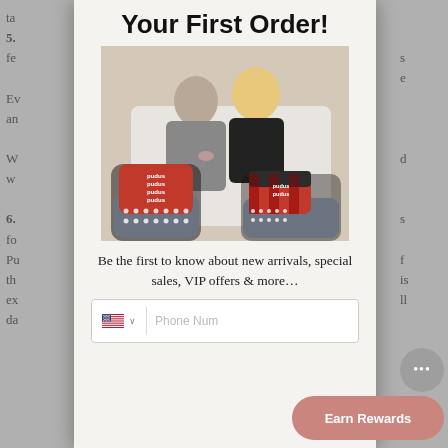Your First Order!
[Figure (photo): A couple sitting on a white couch, the man kissing the woman on the head. Their feet are in the foreground showing Pudus branded red and gray non-slip slipper socks with white dot grips on the soles.]
Be the first to know about new arrivals, special sales, VIP offers & more...
Phone Number input field with US flag and country code selector
Earn Rewards